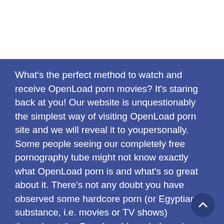What's the perfect method to watch and receive OpenLoad porn movies? It's staring back at you! Our website is unquestionably the simplest way of visiting OpenLoad porn site and we will reveal it to youpersonally. Some people seeing our completely free pornography tube might not know exactly what OpenLoad porn is and what's so great about it. There's not any doubt you have observed some hardcore porn (or Egyptian substance, i.e. movies or TV shows) throughout the OpenLoad-branded movie player. It's very much omnipresent as it's the perfect. Paradoxically, individuals have voted with their attention/clicks - OpenLoad player is the best, their hosting service is very similar to anything else available on the market. Furthermore, is that OpenLoad porn site is also quite hot and that's why we like it needs a suitable socket. Is there a better outlet than the typical complimentary radio tube? No, we don't believe